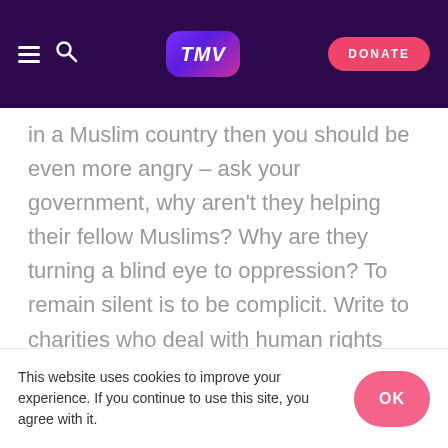TMV | DONATE
in a Muslim country then you should be even more angry – ask your government, why aren't they helping their fellow Muslims? Why are they turning a blind eye to oppression? To remain silent is to be complicit. Write to charities who deal with human rights such as Amnesty International, Human Rights watch, United Nations Association, The Aegis Trust, and Equal Rights Trust.
Boycott China
This website uses cookies to improve your experience. If you continue to use this site, you agree with it.